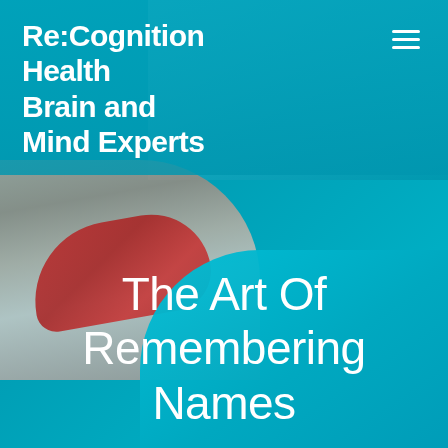[Figure (photo): Website screenshot/cover page for Re:Cognition Health Brain and Mind Experts. Background shows teal-overlaid photos of people in a clinical/office setting. Lower portion shows a teal curved shape overlay. A woman with a red scarf is visible on the left side. The overall color scheme is teal/cyan.]
Re:Cognition Health Brain and Mind Experts
The Art Of Remembering Names